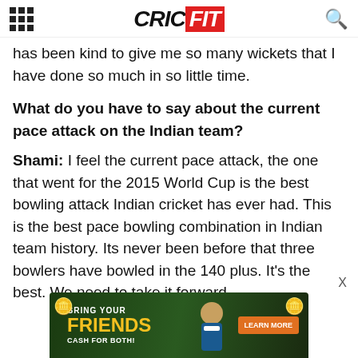CRICFIT
has been kind to give me so many wickets that I have done so much in so little time.
What do you have to say about the current pace attack on the Indian team?
Shami: I feel the current pace attack, the one that went for the 2015 World Cup is the best bowling attack Indian cricket has ever had. This is the best pace bowling combination in Indian team history. Its never been before that three bowlers have bowled in the 140 plus. It's the best. We need to take it forward.
[Figure (other): Advertisement banner: BRING YOUR FRIENDS CASH FOR BOTH! with LEARN MORE button and cricket player image]